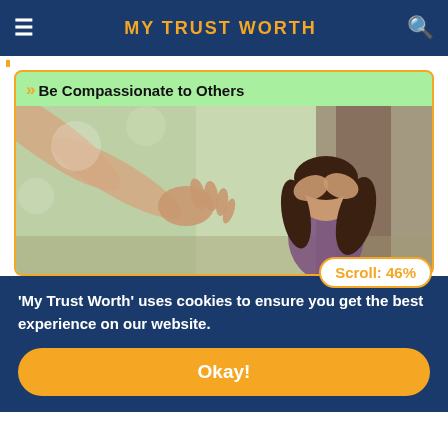MY TRUST WORTH
>> Be Compassionate to Others
[Figure (photo): A hand reaching out toward a distressed person (woman with dark hair, hands on head) leaning against a tree, depicting compassion.]
'My Trust Worth' uses cookies to ensure you get the best experience on our website.
Okay!